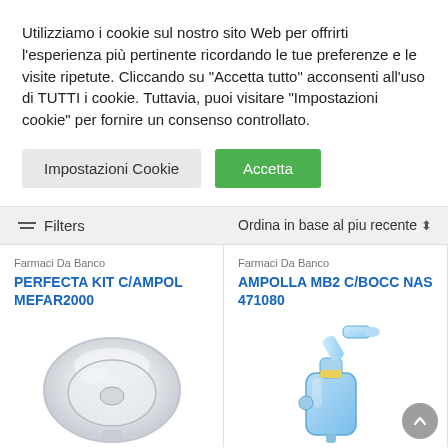Utilizziamo i cookie sul nostro sito Web per offrirti l'esperienza più pertinente ricordando le tue preferenze e le visite ripetute. Cliccando su "Accetta tutto" acconsenti all'uso di TUTTI i cookie. Tuttavia, puoi visitare "Impostazioni cookie" per fornire un consenso controllato.
Impostazioni Cookie | Accetta
Filters | Ordina in base al piu recente
Farmaci Da Banco
PERFECTA KIT C/AMPOL MEFAR2000
[Figure (photo): Photo of a medical nebulizer kit component — a transparent/white rounded plastic piece (ampoule or mask cup) for PERFECTA KIT C/AMPOL MEFAR2000]
Farmaci Da Banco
AMPOLLA MB2 C/BOCC NAS 471080
[Figure (photo): Photo of a blue medical nebulizer ampoule component (AMPOLLA MB2 C/BOCC NAS 471080) with nasal attachment and tube connectors in light blue/yellow colors]